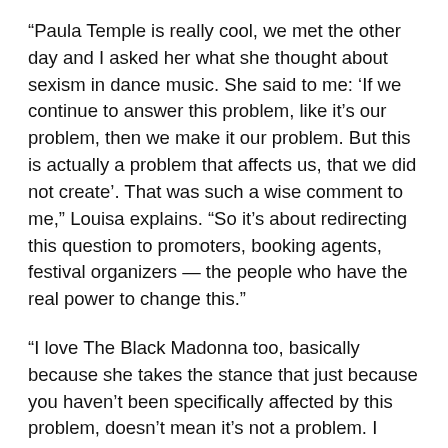“Paula Temple is really cool, we met the other day and I asked her what she thought about sexism in dance music. She said to me: ‘If we continue to answer this problem, like it’s our problem, then we make it our problem. But this is actually a problem that affects us, that we did not create’. That was such a wise comment to me,” Louisa explains. “So it’s about redirecting this question to promoters, booking agents, festival organizers — the people who have the real power to change this.”
“I love The Black Madonna too, basically because she takes the stance that just because you haven’t been specifically affected by this problem, doesn’t mean it’s not a problem. I think that’s a really important thing for me to keep in the back of my mind, because it does get tiresome being asked what it’s like to be female all…